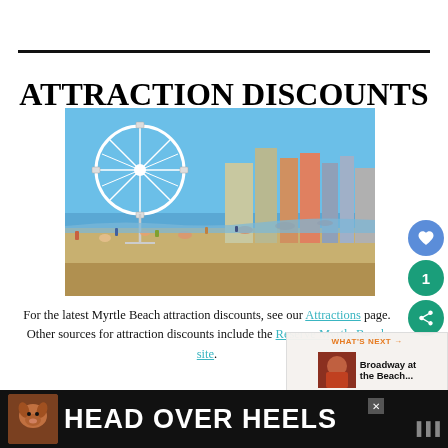ATTRACTION DISCOUNTS
[Figure (photo): Myrtle Beach beachfront scene with a large Ferris wheel, hotels and buildings in the background, and beachgoers on the sandy shore with the ocean visible]
For the latest Myrtle Beach attraction discounts, see our Attractions page. Other sources for attraction discounts include the Reserve Myrtle Beach site.
[Figure (infographic): Advertisement banner reading HEAD OVER HEELS with a dog image and dark background]